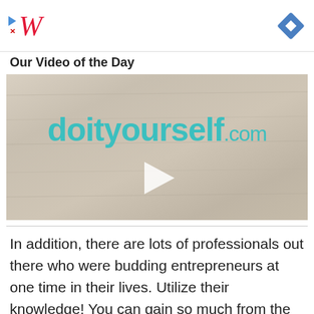[Figure (screenshot): Advertisement banner with Walgreens logo (red italic W) and a blue diamond navigation icon on the right]
Our Video of the Day
[Figure (screenshot): Video thumbnail showing doityourself.com logo in teal on a wood-grain background, with a white play button triangle in the center]
In addition, there are lots of professionals out there who were budding entrepreneurs at one time in their lives. Utilize their knowledge! You can gain so much from the experiences they are